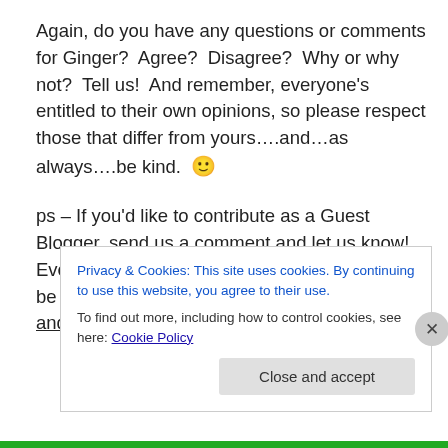Again, do you have any questions or comments for Ginger?  Agree?  Disagree?  Why or why not?  Tell us!  And remember, everyone's entitled to their own opinions, so please respect those that differ from yours….and…as always….be kind.  🙂
ps – If you'd like to contribute as a Guest Blogger, send us a comment and let us know!  Everyone's opinion matters!  You don't have to be a pro – just tell how you feel from the heart – and why!
Privacy & Cookies: This site uses cookies. By continuing to use this website, you agree to their use.
To find out more, including how to control cookies, see here: Cookie Policy